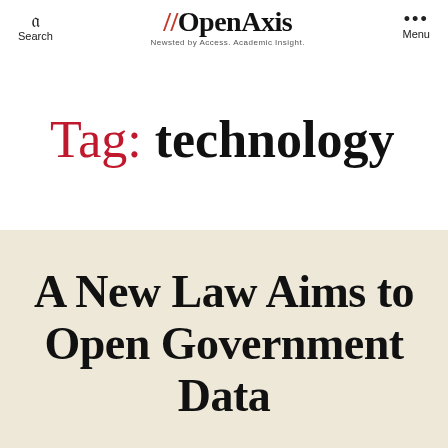Search | OpenAxis Newsted by Access. Academic Insight. | Menu
Tag: technology
A New Law Aims to Open Government Data